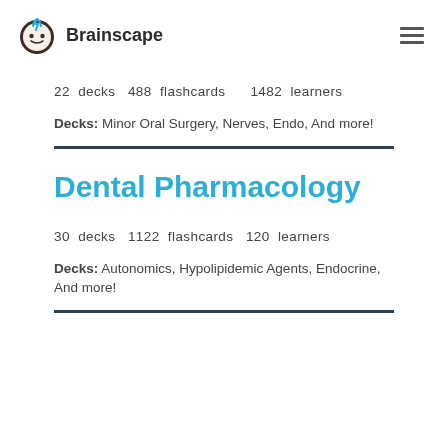Brainscape
22 decks   488 flashcards     1482 learners
Decks: Minor Oral Surgery, Nerves, Endo, And more!
Dental Pharmacology
30 decks   1122 flashcards   120 learners
Decks: Autonomics, Hypolipidemic Agents, Endocrine, And more!